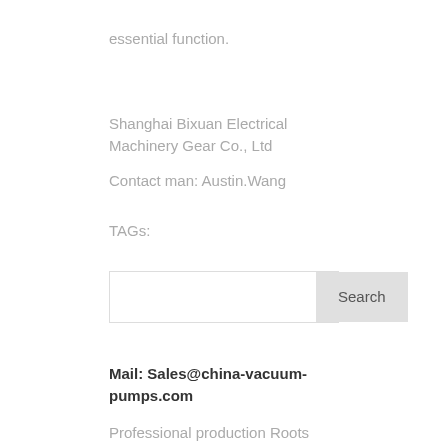essential function.
Shanghai Bixuan Electrical Machinery Gear Co., Ltd
Contact man: Austin.Wang
TAGs:
Mail: Sales@china-vacuum-pumps.com
Professional production Roots Vacuum Pumps, rotary vane pump, rotary piston pump, liquid ring vacuum pump, Oil-free Air Compressor, Screw Compressor, Scroll Compressor Manufacturer and Supplier.